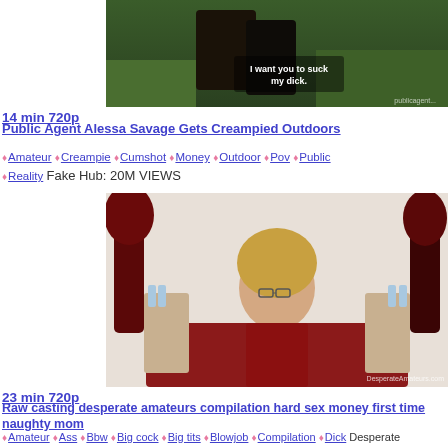[Figure (photo): Video thumbnail: outdoors scene with text overlay 'I want you to suck my dick.' and watermark 'publicagent...']
14 min 720p
Public Agent Alessa Savage Gets Creampied Outdoors
♦Amateur ♦Creampie ♦Cumshot ♦Money ♦Outdoor ♦Pov ♦Public ♦Reality Fake Hub: 20M VIEWS
[Figure (photo): Video thumbnail: woman with glasses in red dress sitting on bed, watermark 'DesperateAmateurs.com']
23 min 720p
Raw casting desperate amateurs compilation hard sex money first time naughty mom
♦Amateur ♦Ass ♦Bbw ♦Big cock ♦Big tits ♦Blowjob ♦Compilation ♦Dick Desperate Amateurs: 271k VIEWS
[Figure (photo): Video thumbnail: partial view of two people in a car]